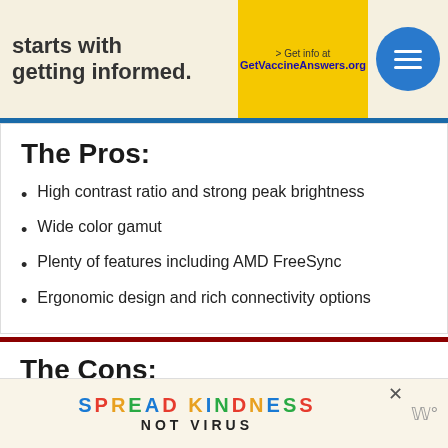[Figure (screenshot): Top advertisement banner showing 'starts with getting informed.' text, yellow box with 'Get info at GetVaccineAnswers.org', and a blue circular menu button]
The Pros:
High contrast ratio and strong peak brightness
Wide color gamut
Plenty of features including AMD FreeSync
Ergonomic design and rich connectivity options
The Cons:
Minor smearing in fast-paced games, mainly in darker scenes
Visible overshoot at lower refresh rates
Unnoticeable flickering below 100% brightness, but may
[Figure (infographic): Bottom advertisement: SPREAD KINDNESS NOT VIRUS with colorful letters and close button]